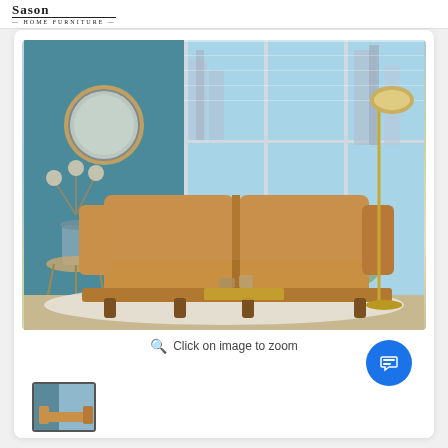Sason Home Furniture
[Figure (photo): A tan/caramel colored mid-century modern sofa with wooden legs, shown in a bright living room setting with large windows, a round mirror, decorative plant, floor lamp with gold base, and a cowhide rug.]
Click on image to zoom
[Figure (photo): Thumbnail image of the sofa]